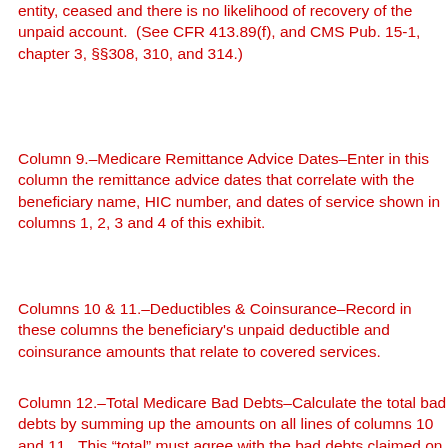entity, ceased and there is no likelihood of recovery of the unpaid account.  (See CFR 413.89(f), and CMS Pub. 15-1, chapter 3, §§308, 310, and 314.)
Column 9.–Medicare Remittance Advice Dates–Enter in this column the remittance advice dates that correlate with the beneficiary name, HIC number, and dates of service shown in columns 1, 2, 3 and 4 of this exhibit.
Columns 10 & 11.–Deductibles & Coinsurance–Record in these columns the beneficiary's unpaid deductible and coinsurance amounts that relate to covered services.
Column 12.–Total Medicare Bad Debts–Calculate the total bad debts by summing up the amounts on all lines of columns 10 and 11.  This “total” must agree with the bad debts claimed on the